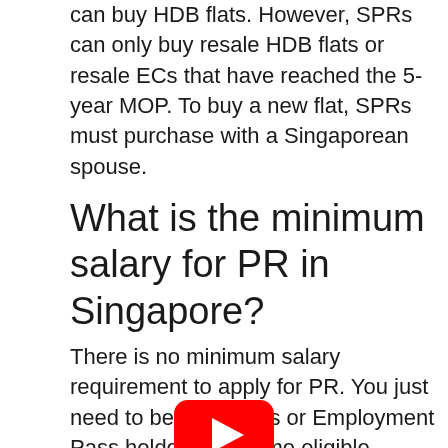can buy HDB flats. However, SPRs can only buy resale HDB flats or resale ECs that have reached the 5-year MOP. To buy a new flat, SPRs must purchase with a Singaporean spouse.
What is the minimum salary for PR in Singapore?
There is no minimum salary requirement to apply for PR. You just need to be an S Pass or Employment Pass holder to become eligible.
[Figure (logo): YouTube play button icon - red rounded rectangle with white triangle play symbol]